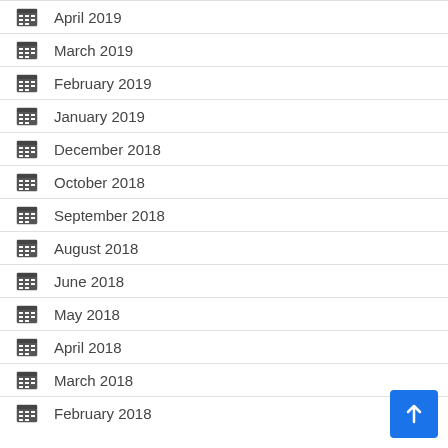April 2019
March 2019
February 2019
January 2019
December 2018
October 2018
September 2018
August 2018
June 2018
May 2018
April 2018
March 2018
February 2018